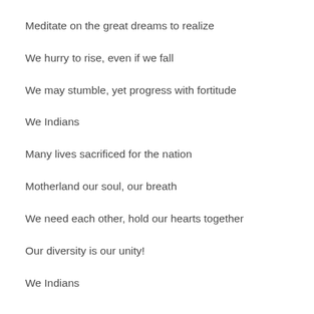Meditate on the great dreams to realize
We hurry to rise, even if we fall
We may stumble, yet progress with fortitude
We Indians
Many lives sacrificed for the nation
Motherland our soul, our breath
We need each other, hold our hearts together
Our diversity is our unity!
We Indians